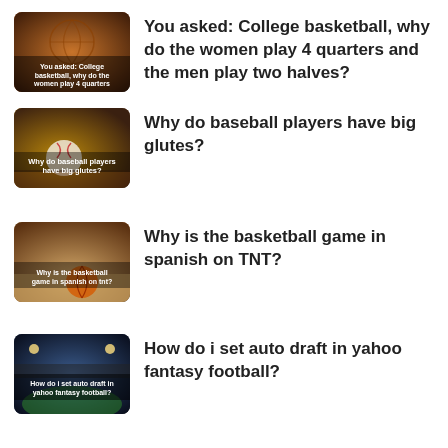[Figure (photo): Thumbnail image of basketball with text overlay about college basketball quarters]
You asked: College basketball, why do the women play 4 quarters and the men play two halves?
[Figure (photo): Thumbnail image of baseball with text overlay about baseball players glutes]
Why do baseball players have big glutes?
[Figure (photo): Thumbnail image of basketball on court with text overlay about Spanish on TNT]
Why is the basketball game in spanish on TNT?
[Figure (photo): Thumbnail image of football stadium with text overlay about Yahoo fantasy football auto draft]
How do i set auto draft in yahoo fantasy football?